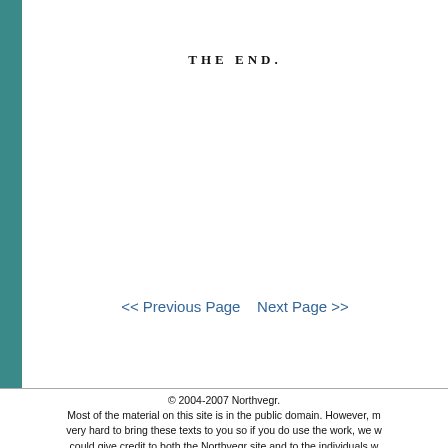THE END.
<< Previous Page    Next Page >>
© 2004-2007 Northvegr. Most of the material on this site is in the public domain. However, n... very hard to bring these texts to you so if you do use the work, we w... could give credit to both the Northvegr site and to the individuals w... these texts. A small number of texts are copyrighted and cannot be r...